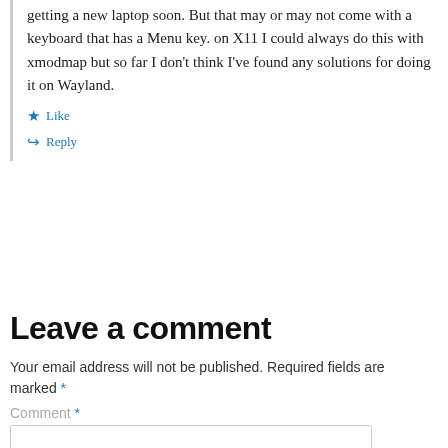getting a new laptop soon. But that may or may not come with a keyboard that has a Menu key. on X11 I could always do this with xmodmap but so far I don't think I've found any solutions for doing it on Wayland.
★ Like
↪ Reply
Leave a comment
Your email address will not be published. Required fields are marked *
Comment *